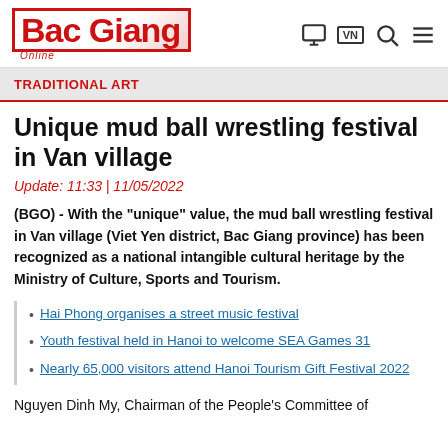Bac Giang Online
TRADITIONAL ART
Unique mud ball wrestling festival in Van village
Update: 11:33 | 11/05/2022
(BGO) - With the "unique" value, the mud ball wrestling festival in Van village (Viet Yen district, Bac Giang province) has been recognized as a national intangible cultural heritage by the Ministry of Culture, Sports and Tourism.
Hai Phong organises a street music festival
Youth festival held in Hanoi to welcome SEA Games 31
Nearly 65,000 visitors attend Hanoi Tourism Gift Festival 2022
Nguyen Dinh My, Chairman of the People's Committee of